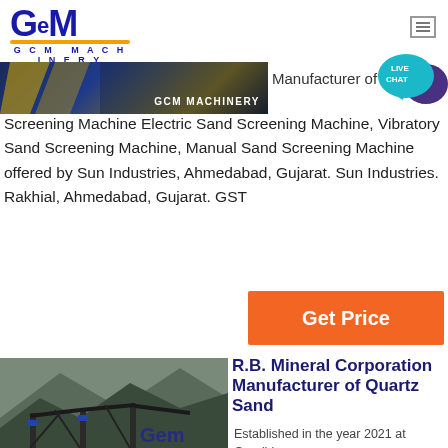[Figure (logo): GCM Machinery logo with blue stylized GCM text and gold underline]
[Figure (photo): Banner image strip showing machinery/equipment with GCM MACHINERY text]
[Figure (illustration): Live Chat speech bubble icon in teal/purple]
Manufacturer of Sand Screening Machine Electric Sand Screening Machine, Vibratory Sand Screening Machine, Manual Sand Screening Machine offered by Sun Industries, Ahmedabad, Gujarat. Sun Industries. Rakhial, Ahmedabad, Gujarat. GST
[Figure (other): Orange Get Price button]
[Figure (photo): Photo of large mining/quarry machinery and conveyor systems with mountains in background, GCM watermark]
R.B. Mineral Corporation Manufacturer of Quartz Sand
Established in the year 2021 at Gandhinagar